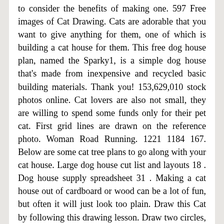to consider the benefits of making one. 597 Free images of Cat Drawing. Cats are adorable that you want to give anything for them, one of which is building a cat house for them. This free dog house plan, named the Sparky1, is a simple dog house that's made from inexpensive and recycled basic building materials. Thank you! 153,629,010 stock photos online. Cat lovers are also not small, they are willing to spend some funds only for their pet cat. First grid lines are drawn on the reference photo. Woman Road Running. 1221 1184 167. Below are some cat tree plans to go along with your cat house. Large dog house cut list and layouts 18 . Dog house supply spreadsheet 31 . Making a cat house out of cardboard or wood can be a lot of fun, but often it will just look too plain. Draw this Cat by following this drawing lesson. Draw two circles, one big and one smaller. Instructions for building a "dog house for cats." This extremely cute Wool felted cat house with ears by Wool Walker will keep your cat feeling super warm and cozy all winter long. Woman Cellphone. Match 3D - Matching Puzzle Game (10 Similar Apps & 893 237